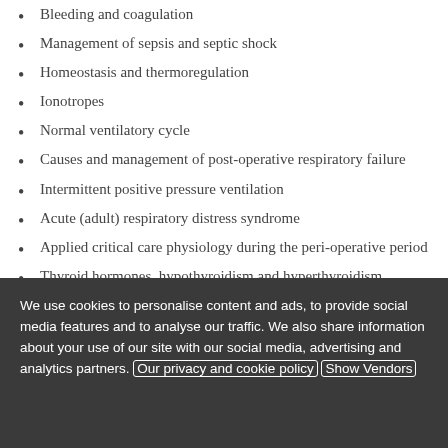Bleeding and coagulation
Management of sepsis and septic shock
Homeostasis and thermoregulation
Ionotropes
Normal ventilatory cycle
Causes and management of post-operative respiratory failure
Intermittent positive pressure ventilation
Acute (adult) respiratory distress syndrome
Applied critical care physiology during the peri-operative period
Thyroid hormones, hypothyroidism and hyperthyroidism
Parathyroid hormones, their disorders and calcium metabolism
We use cookies to personalise content and ads, to provide social media features and to analyse our traffic. We also share information about your use of our site with our social media, advertising and analytics partners. Our privacy and cookie policy Show Vendors